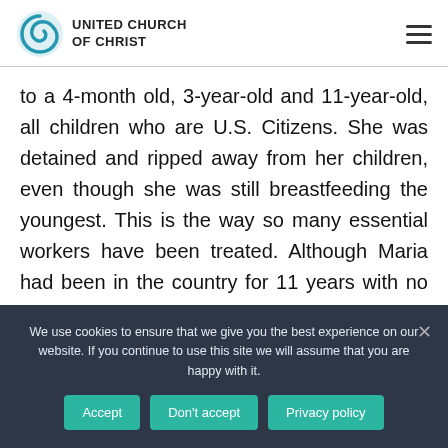UNITED CHURCH OF CHRIST
to a 4-month old, 3-year-old and 11-year-old, all children who are U.S. Citizens. She was detained and ripped away from her children, even though she was still breastfeeding the youngest. This is the way so many essential workers have been treated. Although Maria had been in the country for 11 years with no criminal record and paying
We use cookies to ensure that we give you the best experience on our website. If you continue to use this site we will assume that you are happy with it.
Accept
Don't accept
Privacy policy